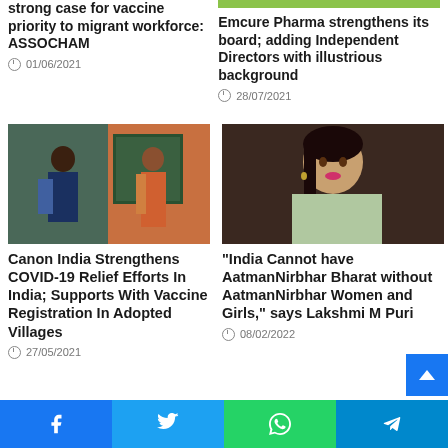strong case for vaccine priority to migrant workforce: ASSOCHAM
01/06/2021
[Figure (photo): Green bar image at top right]
Emcure Pharma strengthens its board; adding Independent Directors with illustrious background
28/07/2021
[Figure (photo): Two women with masks at a vaccine registration board]
[Figure (photo): Woman in light green saree looking upward]
Canon India Strengthens COVID-19 Relief Efforts In India; Supports With Vaccine Registration In Adopted Villages
27/05/2021
"India Cannot have AatmanNirbhar Bharat without AatmanNirbhar Women and Girls," says Lakshmi M Puri
08/02/2022